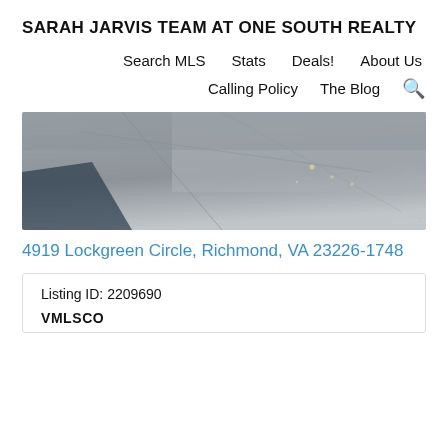SARAH JARVIS TEAM AT ONE SOUTH REALTY
Search MLS   Stats   Deals!   About Us   Calling Policy   The Blog
[Figure (photo): Aerial or ground-level photograph of a concrete or paved surface (driveway/road), with a shadow of trees visible on the left side and a watermark '©CVRMLS' in the lower right corner.]
4919 Lockgreen Circle, Richmond, VA 23226-1748
| Listing ID: 2209690 |
| VMLSCO |